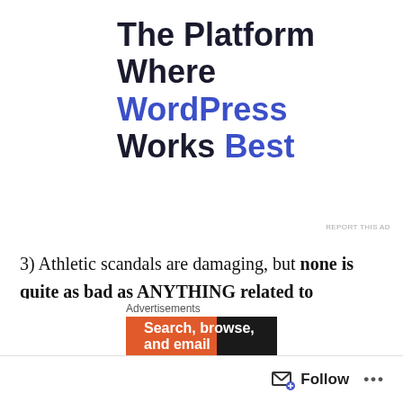[Figure (infographic): Advertisement banner: 'The Platform Where WordPress Works Best' with a blue 'SEE PRICING' button]
REPORT THIS AD
3) Athletic scandals are damaging, but none is quite as bad as ANYTHING related to academics. The story of Professor Julius Nyang'oro and the Carolina African American Studies Department is possibly the worst story of the three. Nyang'oro was back in the news this year for being indicted with felony obtaining property by false
[Figure (screenshot): Bottom advertisement bar with 'Advertisements' label and an ad showing 'Search, browse, and email' with orange and dark background]
Follow ...